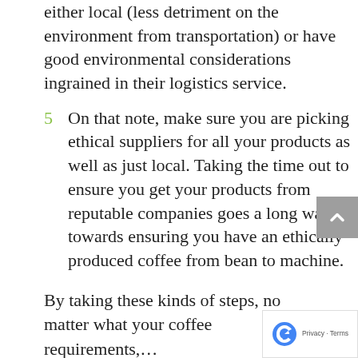either local (less detriment on the environment from transportation) or have good environmental considerations ingrained in their logistics service.
5 On that note, make sure you are picking ethical suppliers for all your products as well as just local. Taking the time out to ensure you get your products from reputable companies goes a long way towards ensuring you have an ethically produced coffee from bean to machine.
By taking these kinds of steps, no matter what your coffee requirements,...